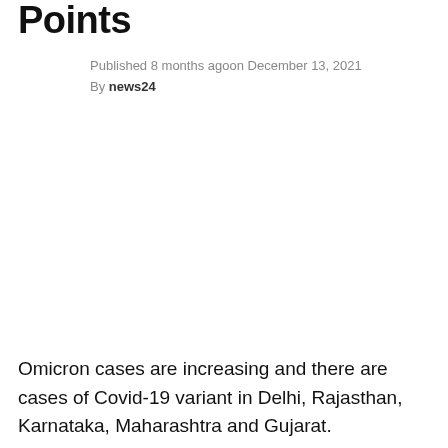Points
Published 8 months agoon December 13, 2021
By news24
Omicron cases are increasing and there are cases of Covid-19 variant in Delhi, Rajasthan, Karnataka, Maharashtra and Gujarat.